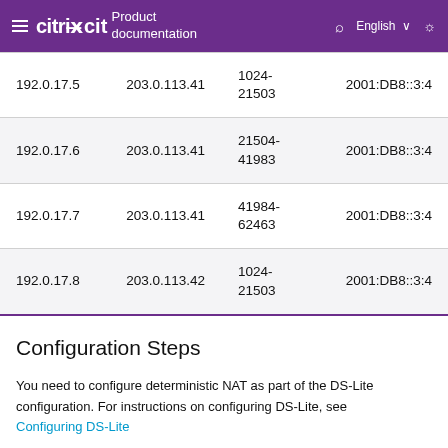citrix Product documentation | English
| 192.0.17.5 | 203.0.113.41 | 1024-21503 | 2001:DB8::3:4 |
| 192.0.17.6 | 203.0.113.41 | 21504-41983 | 2001:DB8::3:4 |
| 192.0.17.7 | 203.0.113.41 | 41984-62463 | 2001:DB8::3:4 |
| 192.0.17.8 | 203.0.113.42 | 1024-21503 | 2001:DB8::3:4 |
Configuration Steps
You need to configure deterministic NAT as part of the DS-Lite configuration. For instructions on configuring DS-Lite, see Configuring DS-Lite